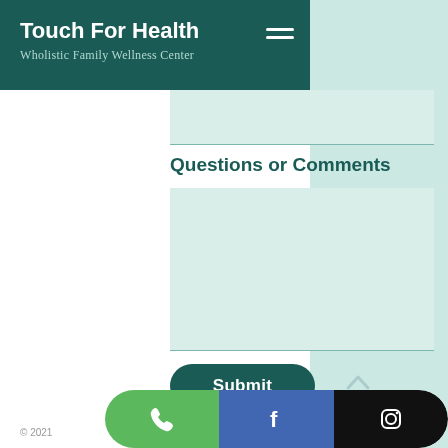Touch For Health
Wholistic Family Wellness Center
Questions or Comments
Submit
© 2021